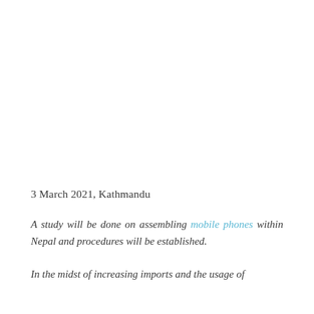3 March 2021, Kathmandu
A study will be done on assembling mobile phones within Nepal and procedures will be established.
In the midst of increasing imports and the usage of